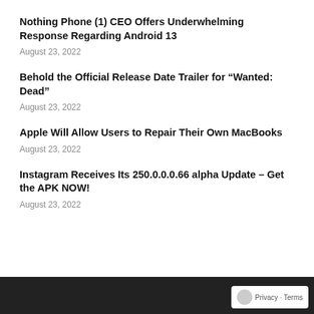Nothing Phone (1) CEO Offers Underwhelming Response Regarding Android 13
August 23, 2022
Behold the Official Release Date Trailer for “Wanted: Dead”
August 23, 2022
Apple Will Allow Users to Repair Their Own MacBooks
August 23, 2022
Instagram Receives Its 250.0.0.0.66 alpha Update – Get the APK NOW!
August 23, 2022
Privacy · Terms